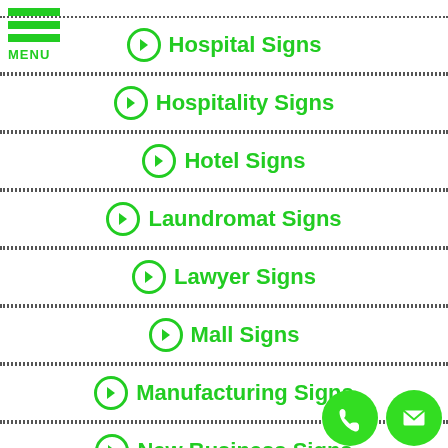MENU
Hospital Signs
Hospitality Signs
Hotel Signs
Laundromat Signs
Lawyer Signs
Mall Signs
Manufacturing Signs
New Business Signs